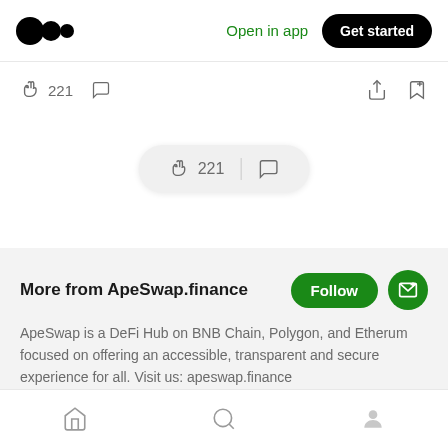Open in app  Get started
👏 221  💬
[Figure (screenshot): Floating pill UI element showing clap count 221 and comment icon]
More from ApeSwap.finance
ApeSwap is a DeFi Hub on BNB Chain, Polygon, and Etherum focused on offering an accessible, transparent and secure experience for all. Visit us: apeswap.finance
Sep 15, 2021
Home  Search  Profile